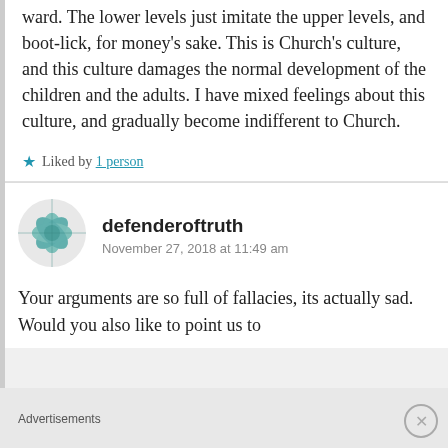ward. The lower levels just imitate the upper levels, and boot-lick, for money's sake. This is Church's culture, and this culture damages the normal development of the children and the adults. I have mixed feelings about this culture, and gradually become indifferent to Church.
★ Liked by 1 person
[Figure (illustration): Avatar icon for user defenderoftruth — a decorative geometric/floral pattern in teal/green tones]
defenderoftruth
November 27, 2018 at 11:49 am
Your arguments are so full of fallacies, its actually sad. Would you also like to point us to
Advertisements